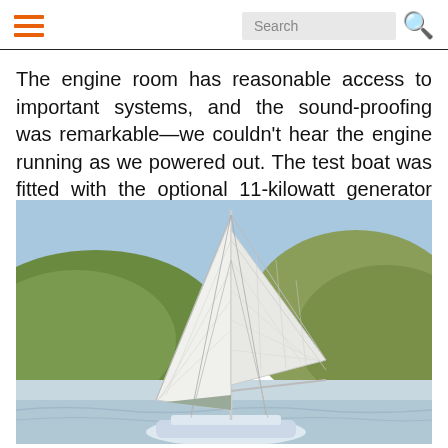☰  Search 🔍
The engine room has reasonable access to important systems, and the sound-proofing was remarkable—we couldn't hear the engine running as we powered out. The test boat was fitted with the optional 11-kilowatt generator and extra capacity 243-gallon fuel tank.
[Figure (photo): A sailboat with large white sails fully deployed sailing near a hilly coastline under a blue sky. The mast, rigging, and boom are visible. The boat appears to be a cruising catamaran or large monohull.]